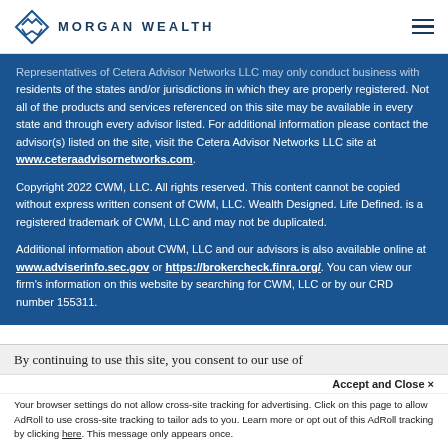MORGAN WEALTH
Representatives of Cetera Advisor Networks LLC may only conduct business with residents of the states and/or jurisdictions in which they are properly registered. Not all of the products and services referenced on this site may be available in every state and through every advisor listed. For additional information please contact the advisor(s) listed on the site, visit the Cetera Advisor Networks LLC site at www.ceteraadvisornetworks.com.
Copyright 2022 CWM, LLC. All rights reserved. This content cannot be copied without express written consent of CWM, LLC. Wealth Designed. Life Defined. is a registered trademark of CWM, LLC and may not be duplicated.
Additional information about CWM, LLC and our advisors is also available online at www.adviserinfo.sec.gov or https://brokercheck.finra.org/. You can view our firm's information on this website by searching for CWM, LLC or by our CRD number 155811.
By continuing to use this site, you consent to our use of cookies.
Accept and Close ×
Your browser settings do not allow cross-site tracking for advertising. Click on this page to allow AdRoll to use cross-site tracking to tailor ads to you. Learn more or opt out of this AdRoll tracking by clicking here. This message only appears once.